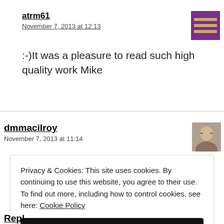atrm61
November 7, 2013 at 12:13
:-)It was a pleasure to read such high quality work Mike
[Figure (illustration): Purple avatar icon with horizontal lines pattern]
dmmacilroy
November 7, 2013 at 11:14
[Figure (photo): Small avatar photo of a person with glasses]
Privacy & Cookies: This site uses cookies. By continuing to use this website, you agree to their use. To find out more, including how to control cookies, see here: Cookie Policy
Close and accept
Repl